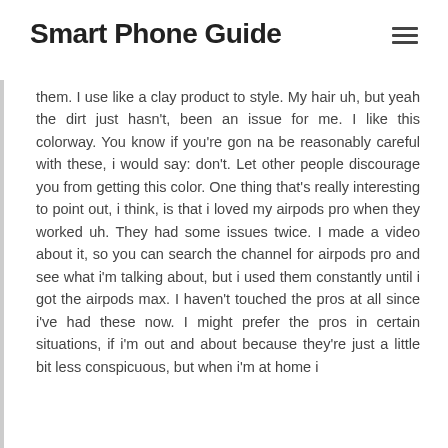Smart Phone Guide
them. I use like a clay product to style. My hair uh, but yeah the dirt just hasn't, been an issue for me. I like this colorway. You know if you're gon na be reasonably careful with these, i would say: don't. Let other people discourage you from getting this color. One thing that's really interesting to point out, i think, is that i loved my airpods pro when they worked uh. They had some issues twice. I made a video about it, so you can search the channel for airpods pro and see what i'm talking about, but i used them constantly until i got the airpods max. I haven't touched the pros at all since i've had these now. I might prefer the pros in certain situations, if i'm out and about because they're just a little bit less conspicuous, but when i'm at home i